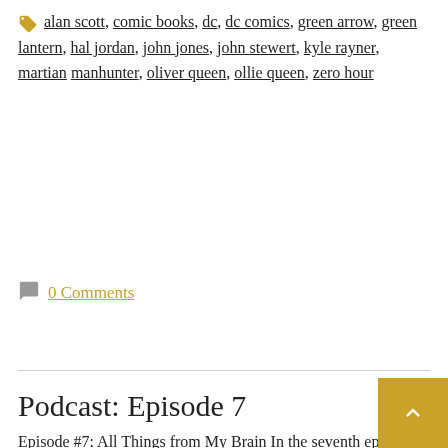alan scott, comic books, dc, dc comics, green arrow, green lantern, hal jordan, john jones, john stewert, kyle rayner, martian manhunter, oliver queen, ollie queen, zero hour
0 Comments
Podcast: Episode 7
Episode #7: All Things from My Brain In the seventh episode of the All Things From My Brain podcast, I talk about the Kindle once again and the lawsuit against Amazon, about Firefox passing one billion downloads, Apple's new